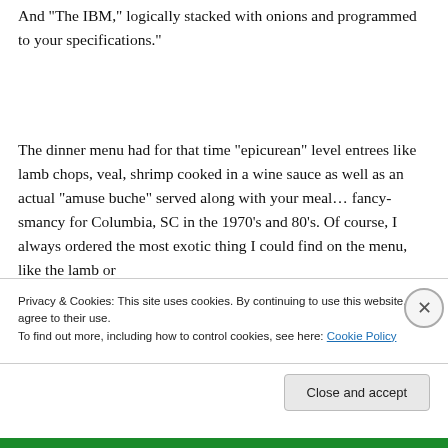And “The IBM,” logically stacked with onions and programmed to your specifications.”
The dinner menu had for that time “epicurean” level entrees like lamb chops, veal, shrimp cooked in a wine sauce as well as an actual “amuse buche” served along with your meal… fancy-smancy for Columbia, SC in the 1970’s and 80’s. Of course, I always ordered the most exotic thing I could find on the menu, like the lamb or
Privacy & Cookies: This site uses cookies. By continuing to use this website, you agree to their use.
To find out more, including how to control cookies, see here: Cookie Policy
Close and accept